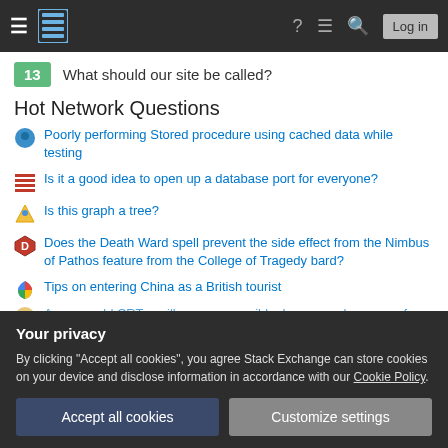Stack Exchange navigation bar with hamburger menu, logo, help, chat, search icons, and Log in button
13  What should our site be called?
Hot Network Questions
Poorly performing Stored procedure using cached data while testing
Is it a good idea to open up a database port for everyone?
Is this graph a tree?
Does the Death Ward spell prevent the side effect from the Nimbus of Pathos feature from the College of Tragedy bard?
Tips on entering China as a British tourist
Are very old CRT oscilloscopes possibly dangerous because of their effect?
Your privacy
By clicking "Accept all cookies", you agree Stack Exchange can store cookies on your device and disclose information in accordance with our Cookie Policy.
Accept all cookies  Customize settings